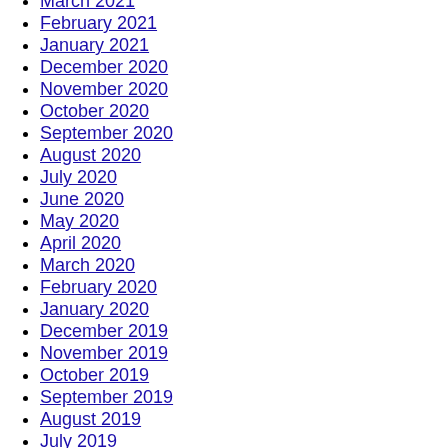March 2021
February 2021
January 2021
December 2020
November 2020
October 2020
September 2020
August 2020
July 2020
June 2020
May 2020
April 2020
March 2020
February 2020
January 2020
December 2019
November 2019
October 2019
September 2019
August 2019
July 2019
June 2019
May 2019
April 2019
March 2019
February 2019